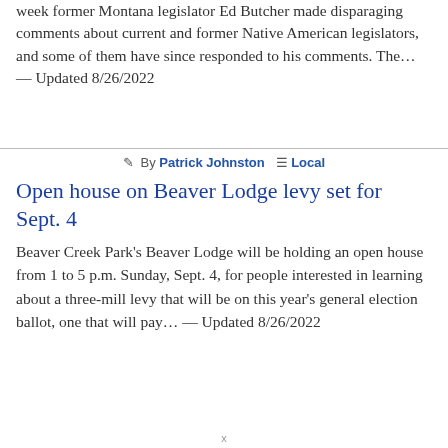week former Montana legislator Ed Butcher made disparaging comments about current and former Native American legislators, and some of them have since responded to his comments. The… — Updated 8/26/2022
By Patrick Johnston  Local
Open house on Beaver Lodge levy set for Sept. 4
Beaver Creek Park's Beaver Lodge will be holding an open house from 1 to 5 p.m. Sunday, Sept. 4, for people interested in learning about a three-mill levy that will be on this year's general election ballot, one that will pay… — Updated 8/26/2022
x